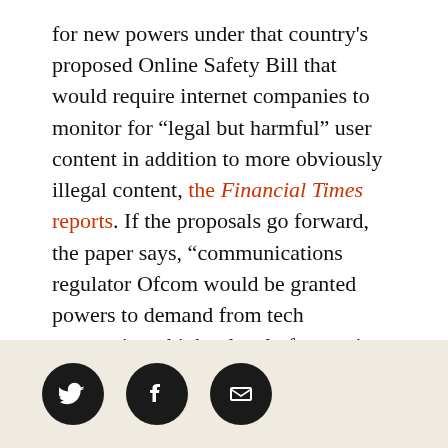for new powers under that country's proposed Online Safety Bill that would require internet companies to monitor for "legal but harmful" user content in addition to more obviously illegal content, the Financial Times reports. If the proposals go forward, the paper says, "communications regulator Ofcom would be granted powers to demand from tech companies a higher level of proactive monitoring, rather than merely relying on their users to report abusive or offensive material."
Apple plans: After announcing last August that